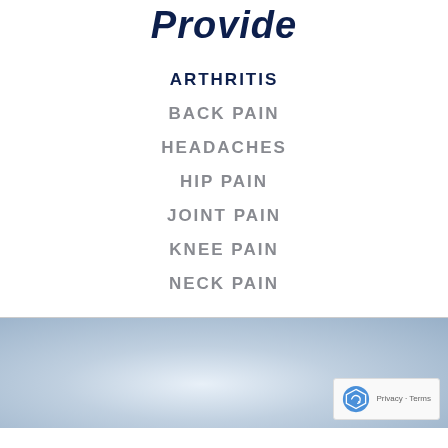Provide
ARTHRITIS
BACK PAIN
HEADACHES
HIP PAIN
JOINT PAIN
KNEE PAIN
NECK PAIN
[Figure (photo): Medical professional in clinical setting, blurred background with light tones]